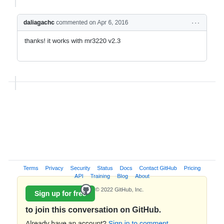daliagachc commented on Apr 6, 2016
thanks! it works with mr3220 v2.3
Sign up for free to join this conversation on GitHub. Already have an account? Sign in to comment
Terms  Privacy  Security  Status  Docs  Contact GitHub  Pricing  API  Training  Blog  About  © 2022 GitHub, Inc.